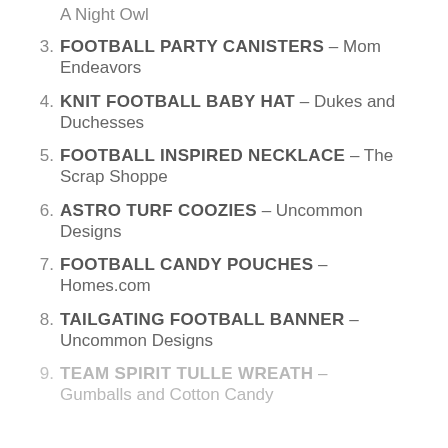A Night Owl
FOOTBALL PARTY CANISTERS – Mom Endeavors
KNIT FOOTBALL BABY HAT – Dukes and Duchesses
FOOTBALL INSPIRED NECKLACE – The Scrap Shoppe
ASTRO TURF COOZIES – Uncommon Designs
FOOTBALL CANDY POUCHES – Homes.com
TAILGATING FOOTBALL BANNER – Uncommon Designs
TEAM SPIRIT TULLE WREATH – Gumballs and Cotton Candy